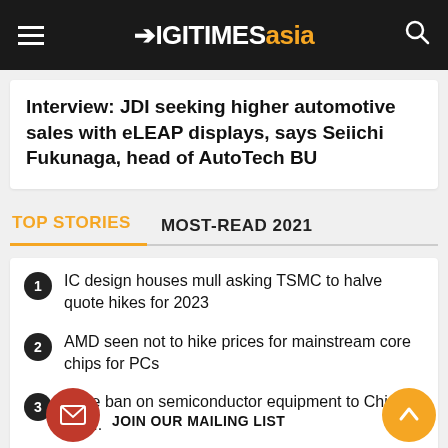DIGITIMES asia
Interview: JDI seeking higher automotive sales with eLEAP displays, says Seiichi Fukunaga, head of AutoTech BU
TOP STORIES | MOST-READ 2021
1. IC design houses mull asking TSMC to halve quote hikes for 2023
2. AMD seen not to hike prices for mainstream core chips for PCs
3. More ban on semiconductor equipment to China acc...
4. SMIC founder reportedly sets up photomask...
JOIN OUR MAILING LIST